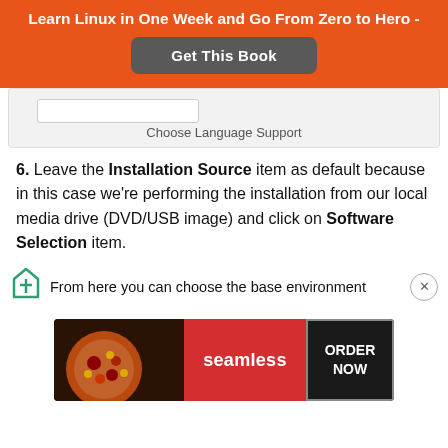Learn Linux in One Week and Go From Zero to Hero -
[Figure (screenshot): Orange promotional banner with 'Get This Book' button and a UI element showing 'Choose Language Support']
6. Leave the Installation Source item as default because in this case we're performing the installation from our local media drive (DVD/USB image) and click on Software Selection item.
From here you can choose the base environment
[Figure (infographic): Seamless food delivery advertisement banner showing pizza image, Seamless logo in red, and ORDER NOW button]